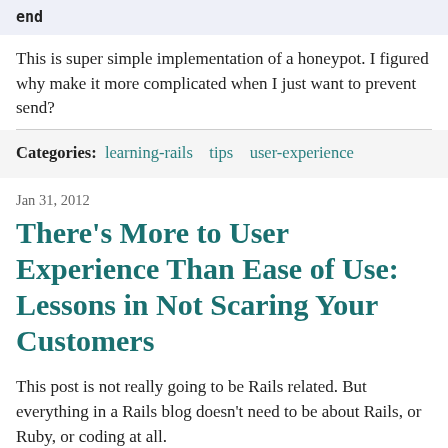end
This is super simple implementation of a honeypot. I figured why make it more complicated when I just want to prevent send?
Categories: learning-rails  tips  user-experience
Jan 31, 2012
There’s More to User Experience Than Ease of Use: Lessons in Not Scaring Your Customers
This post is not really going to be Rails related. But everything in a Rails blog doesn't need to be about Rails, or Ruby, or coding at all.